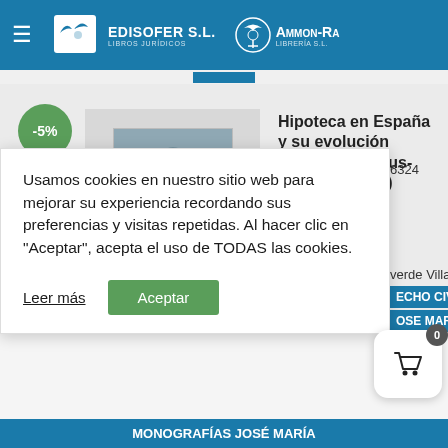[Figure (logo): Edisofer S.L. Libros Jurídicos and Ammon-Ra Librería S.L. logos on blue header bar with hamburger menu]
Hipoteca en España y su evolución histórica (pignus-peño-hipoteca)
[Figure (photo): Book cover of 'Hipoteca en España y su evolución histórica' showing a statue/sculpture on the cover]
Usamos cookies en nuestro sitio web para mejorar su experiencia recordando sus preferencias y visitas repetidas. Al hacer clic en "Aceptar", acepta el uso de TODAS las cookies.
Leer más
Aceptar
6324
verde Villa
ECHO CIVIL:
OSE MAR
MONOGRAFÍAS JOSÉ MARÍA